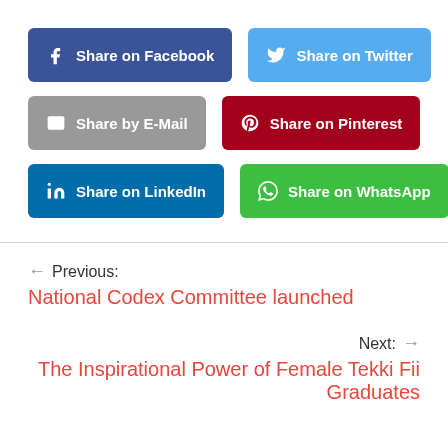[Figure (other): Social sharing buttons: Share on Facebook (blue), Share on Twitter (light blue), Share by E-Mail (gray), Share on Pinterest (dark red), Share on LinkedIn (dark blue), Share on WhatsApp (green)]
← Previous:
National Codex Committee launched
Next: →
The Inspirational Power of Female Tekki Fii Graduates